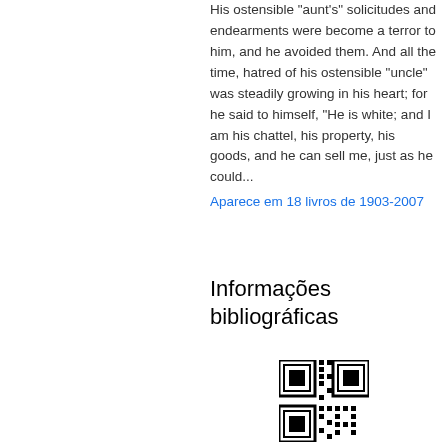His ostensible "aunt's" solicitudes and endearments were become a terror to him, and he avoided them. And all the time, hatred of his ostensible "uncle" was steadily growing in his heart; for he said to himself, "He is white; and I am his chattel, his property, his goods, and he can sell me, just as he could...
Aparece em 18 livros de 1903-2007
Informações bibliográficas
[Figure (other): QR code at bottom of page]